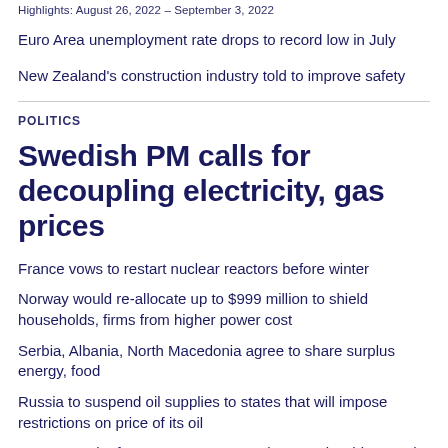Highlights: August 26, 2022 – September 3, 2022
Euro Area unemployment rate drops to record low in July
New Zealand's construction industry told to improve safety
POLITICS
Swedish PM calls for decoupling electricity, gas prices
France vows to restart nuclear reactors before winter
Norway would re-allocate up to $999 million to shield households, firms from higher power cost
Serbia, Albania, North Macedonia agree to share surplus energy, food
Russia to suspend oil supplies to states that will impose restrictions on price of its oil
Governor Gianforte announces record apprenticeship growth in